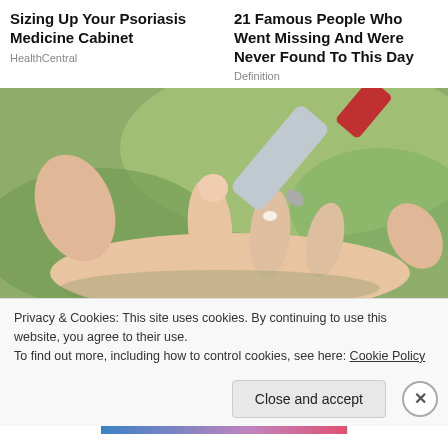Sizing Up Your Psoriasis Medicine Cabinet
HealthCentral
21 Famous People Who Went Missing And Were Never Found To This Day
Definition
[Figure (photo): Close-up of a hand receiving a cream application from a tube, on a green blurred background]
Privacy & Cookies: This site uses cookies. By continuing to use this website, you agree to their use.
To find out more, including how to control cookies, see here: Cookie Policy
Close and accept